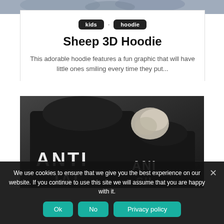[Figure (photo): Top portion of a lifestyle photo showing people wearing hoodies, cropped at top of page]
kids
hoodie
Sheep 3D Hoodie
This adorable hoodie features a fun graphic that will have little ones smiling every time they put...
[Figure (photo): Two people wearing black hoodies with 'ANTI' text printed on the back, shot from behind]
We use cookies to ensure that we give you the best experience on our website. If you continue to use this site we will assume that you are happy with it.
Ok  No  Privacy policy